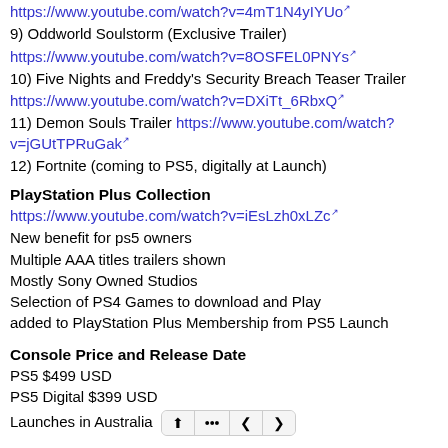https://www.youtube.com/watch?v=4mT1N4yIYUo
9) Oddworld Soulstorm (Exclusive Trailer)
https://www.youtube.com/watch?v=8OSFEL0PNYs
10) Five Nights and Freddy's Security Breach Teaser Trailer
https://www.youtube.com/watch?v=DXiTt_6RbxQ
11) Demon Souls Trailer https://www.youtube.com/watch?v=jGUtTPRuGak
12) Fortnite (coming to PS5, digitally at Launch)
PlayStation Plus Collection
https://www.youtube.com/watch?v=iEsLzh0xLZc
New benefit for ps5 owners
Multiple AAA titles trailers shown
Mostly Sony Owned Studios
Selection of PS4 Games to download and Play
added to PlayStation Plus Membership from PS5 Launch
Console Price and Release Date
PS5 $499 USD
PS5 Digital $399 USD
Launches in Australia